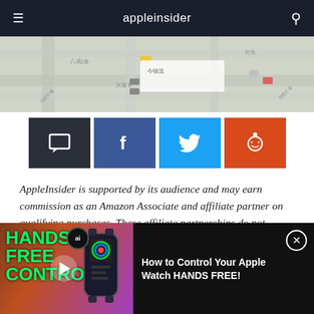appleinsider
[Figure (screenshot): Map view showing streets with car icons, partially visible]
[Figure (infographic): Social share buttons: comment (dark), Facebook (blue), Twitter (light blue), Reddit (orange)]
AppleInsider is supported by its audience and may earn commission as an Amazon Associate and affiliate partner on qualifying purchases. These affiliate partnerships do not influence our editorial content.
Apple has removed the HKmap Live from the App
[Figure (screenshot): Video overlay: 'Hands-Free Control!' text in green with Apple Watch image. Title: 'How to Control Your Apple Watch HANDS FREE!']